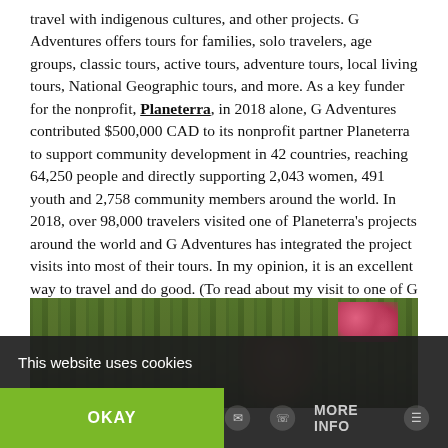travel with indigenous cultures, and other projects. G Adventures offers tours for families, solo travelers, age groups, classic tours, active tours, adventure tours, local living tours, National Geographic tours, and more. As a key funder for the nonprofit, Planeterra, in 2018 alone, G Adventures contributed $500,000 CAD to its nonprofit partner Planeterra to support community development in 42 countries, reaching 64,250 people and directly supporting 2,043 women, 491 youth and 2,758 community members around the world. In 2018, over 98,000 travelers visited one of Planeterra's projects around the world and G Adventures has integrated the project visits into most of their tours. In my opinion, it is an excellent way to travel and do good. (To read about my visit to one of G Adventures G for Good projects in Belize click here). Destinations: Worldwide
[Figure (photo): Outdoor photo showing trees and tropical vegetation with pink flowers, and a person visible in the lower right area]
This website uses cookies
OKAY | MORE INFO